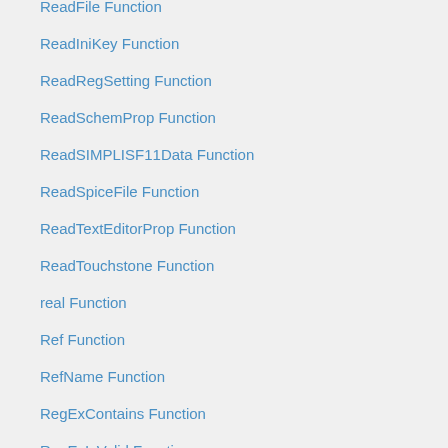ReadFile Function
ReadIniKey Function
ReadRegSetting Function
ReadSchemProp Function
ReadSIMPLISF11Data Function
ReadSpiceFile Function
ReadTextEditorProp Function
ReadTouchstone Function
real Function
Ref Function
RefName Function
RegExContains Function
RegExIsValid Function
RegExMatch Function